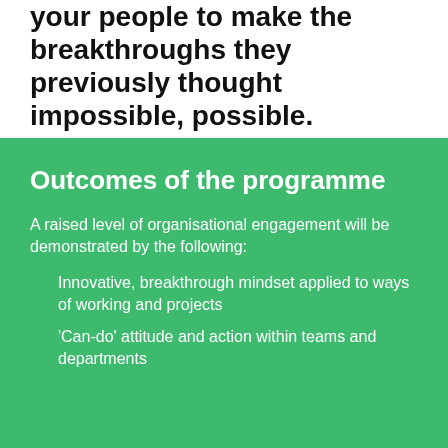your people to make the breakthroughs they previously thought impossible, possible.
Outcomes of the programme
A raised level of organisational engagement will be demonstrated by the following:
Innovative, breakthrough mindset applied to ways of working and projects
'Can-do' attitude and action within teams and departments